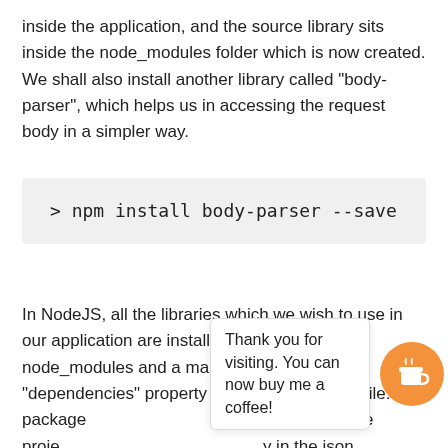inside the application, and the source library sits inside the node_modules folder which is now created. We shall also install another library called "body-parser", which helps us in accessing the request body in a simpler way.
In NodeJS, all the libraries which we wish to use in our application are installed and added to the node_modules and a mapping is added in the "dependencies" property of the package.json file. The package [.renced] in the proje[ct] [.] in the json.